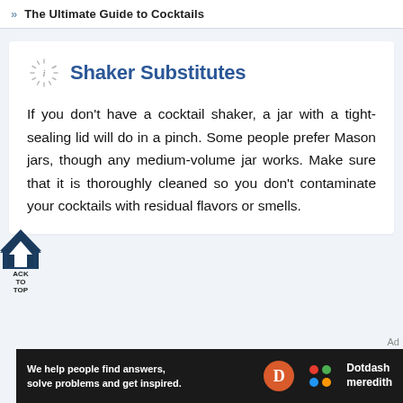>> The Ultimate Guide to Cocktails
Shaker Substitutes
If you don't have a cocktail shaker, a jar with a tight-sealing lid will do in a pinch. Some people prefer Mason jars, though any medium-volume jar works. Make sure that it is thoroughly cleaned so you don't contaminate your cocktails with residual flavors or smells.
[Figure (infographic): Dark navy hexagonal back-to-top button with up arrow, labeled BACK TO TOP]
Ad
[Figure (logo): Dotdash Meredith advertisement banner: 'We help people find answers, solve problems and get inspired.' with D logo and colorful Dotdash Meredith logo]